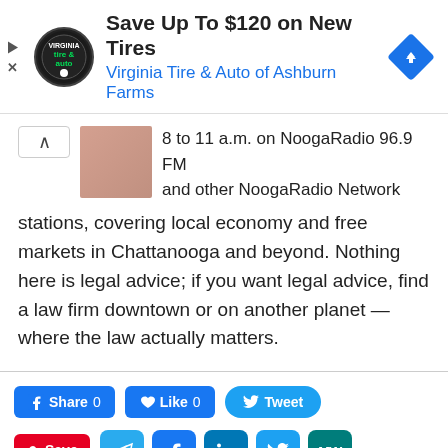[Figure (screenshot): Advertisement banner for Virginia Tire & Auto of Ashburn Farms with logo, headline 'Save Up To $120 on New Tires', and a blue diamond navigation icon]
8 to 11 a.m. on NoogaRadio 96.9 FM and other NoogaRadio Network stations, covering local economy and free markets in Chattanooga and beyond. Nothing here is legal advice; if you want legal advice, find a law firm downtown or on another planet — where the law actually matters.
[Figure (screenshot): Social sharing buttons: Facebook Share 0, Like 0, Tweet, Pinterest Save, Telegram, Facebook, LinkedIn, Twitter, MW, SMS, Email, Print, More]